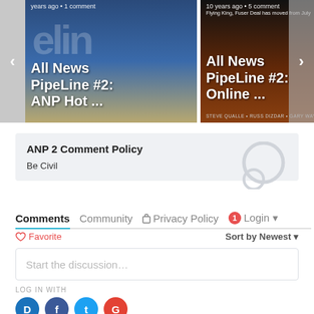[Figure (screenshot): Carousel of two video thumbnails. Left: 'All News PipeLine #2: ANP Hot ...' with text 'years ago • 1 comment'. Right: 'All News PipeLine #2: Online ...' with text '10 years ago • 5 comment'. Navigation arrows on left and right sides.]
ANP 2 Comment Policy
Be Civil
Comments  Community  🔒 Privacy Policy  1  Login ▾
♡ Favorite
Sort by Newest ▾
Start the discussion...
LOG IN WITH